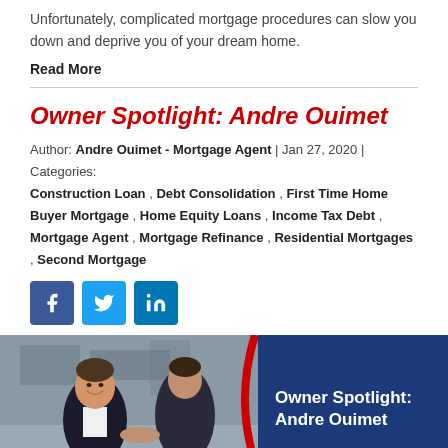Unfortunately, complicated mortgage procedures can slow you down and deprive you of your dream home.
Read More
Owner Spotlight: Andre Ouimet
Author: Andre Ouimet - Mortgage Agent | Jan 27, 2020 | Categories: Construction Loan , Debt Consolidation , First Time Home Buyer Mortgage , Home Equity Loans , Income Tax Debt , Mortgage Agent , Mortgage Refinance , Residential Mortgages , Second Mortgage
[Figure (infographic): Social media icons: Facebook (blue), Twitter (light blue), LinkedIn (blue)]
[Figure (photo): Two men in suits shaking hands, one smiling at camera, overlaid with dark blue panel and text 'Owner Spotlight: Andre Ouimet' in white bold text on navy blue background with red arc divider]